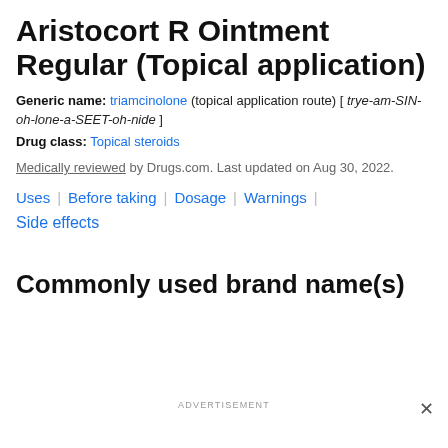Aristocort R Ointment Regular (Topical application)
Generic name: triamcinolone (topical application route) [ trye-am-SIN-oh-lone-a-SEET-oh-nide ]
Drug class: Topical steroids
Medically reviewed by Drugs.com. Last updated on Aug 30, 2022.
Uses
Before taking
Dosage
Warnings
Side effects
Commonly used brand name(s)